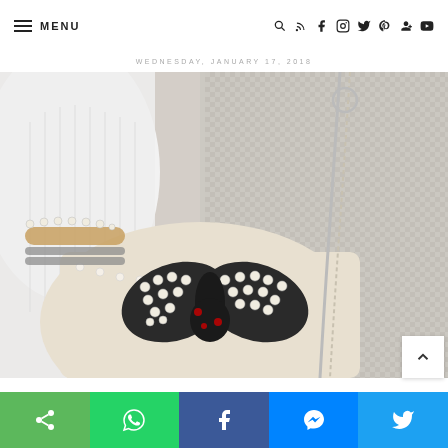≡ MENU  🔍 RSS f IG Twitter P G+ YouTube
WEDNESDAY, JANUARY 17, 2018
[Figure (photo): Close-up fashion photo showing a woman's wrist with pearl and gold bracelets, holding a cream-colored bag adorned with pearls and a jeweled butterfly brooch, wearing a white ribbed sweater; in background, a gray gingham/checked jacket with a chain zipper detail.]
Share buttons: Share, WhatsApp, Facebook, Messenger, Twitter